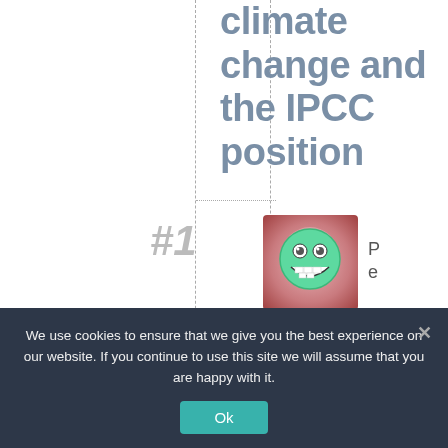climate change and the IPCC position
#1
[Figure (illustration): Green cartoon monster emoji face avatar in a square frame with red-to-white gradient background]
Pete
We use cookies to ensure that we give you the best experience on our website. If you continue to use this site we will assume that you are happy with it.
Ok